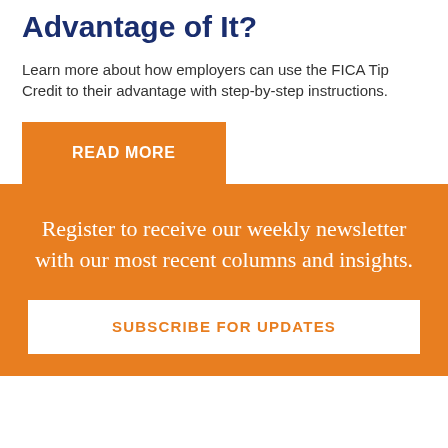Advantage of It?
Learn more about how employers can use the FICA Tip Credit to their advantage with step-by-step instructions.
READ MORE
Register to receive our weekly newsletter with our most recent columns and insights.
SUBSCRIBE FOR UPDATES